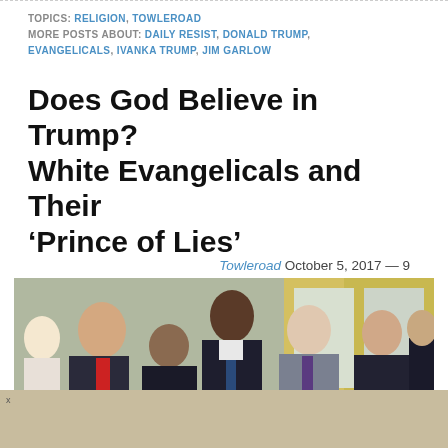TOPICS: RELIGION, TOWLEROAD
MORE POSTS ABOUT: DAILY RESIST, DONALD TRUMP, EVANGELICALS, IVANKA TRUMP, JIM GARLOW
Does God Believe in Trump? White Evangelicals and Their ‘Prince of Lies’
Towleroad October 5, 2017 — 9
[Figure (photo): Group of people, including religious leaders and Mike Pence, praying together in what appears to be the White House Oval Office. A man in a red tie stands prominently on the left. The room has yellow curtained windows in the background.]